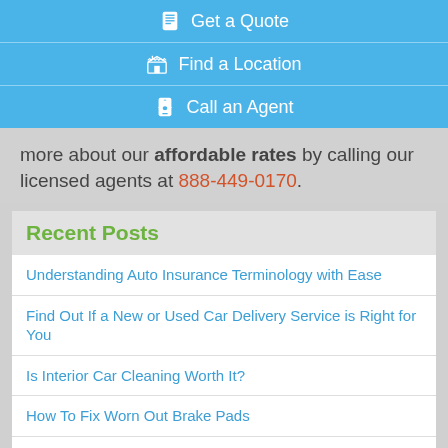Get a Quote
Find a Location
Call an Agent
more about our affordable rates by calling our licensed agents at 888-449-0170.
Recent Posts
Understanding Auto Insurance Terminology with Ease
Find Out If a New or Used Car Delivery Service is Right for You
Is Interior Car Cleaning Worth It?
How To Fix Worn Out Brake Pads
How Do Insurance Companies Pay Out Claims?